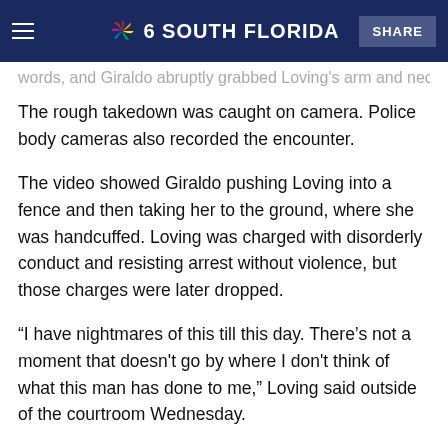NBC 6 South Florida | SHARE
words, and Giraldo abruptly grabbed Loving's arm and neck
The rough takedown was caught on camera. Police body cameras also recorded the encounter.
The video showed Giraldo pushing Loving into a fence and then taking her to the ground, where she was handcuffed. Loving was charged with disorderly conduct and resisting arrest without violence, but those charges were later dropped.
“I have nightmares of this till this day. There’s not a moment that doesn't go by where I don't think of what this man has done to me,” Loving said outside of the courtroom Wednesday.
Giraldo's wife briefly spoke in court and said her husband is a